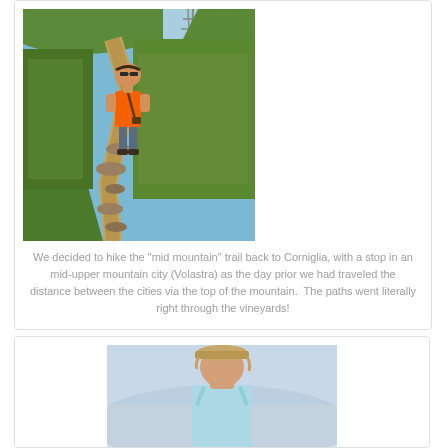[Figure (photo): Person in orange shirt and shorts with sunglasses and shoulder bag walking down a narrow rocky trail through lush green vineyard hillside, with a metal pylon/tower visible at the top of the hill and blue sky in background]
We decided to hike the "mid mountain" trail back to Corniglia, with a stop in an mid-upper mountain city (Volastra) as the day prior we had traveled the distance between the cities via the top of the mountain.  The paths went literally right through the vineyards!
[Figure (photo): Person wearing a tan/beige baseball cap and light blue tank top, looking downward, photographed from the side/front against a hazy sky and mountain background]